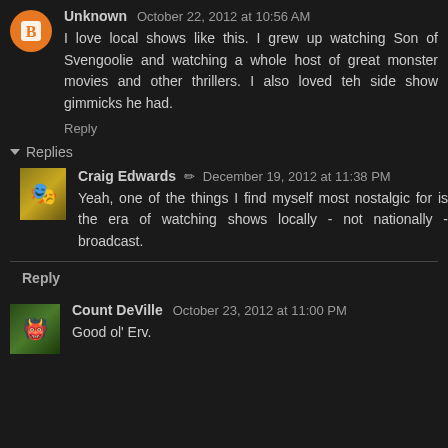Unknown October 22, 2012 at 10:56 AM
I love local shows like this. I grew up watching Son of Svengoolie and watching a whole host of great monster movies and other thrillers. I also loved teh side show gimmicks he had.
Reply
Replies
Craig Edwards December 19, 2012 at 11:38 PM
Yeah, one of the things I find myself most nostalgic for is the era of watching shows locally - not nationally - broadcast.
Reply
Count DeVille October 23, 2012 at 11:00 PM
Good ol' Erv.